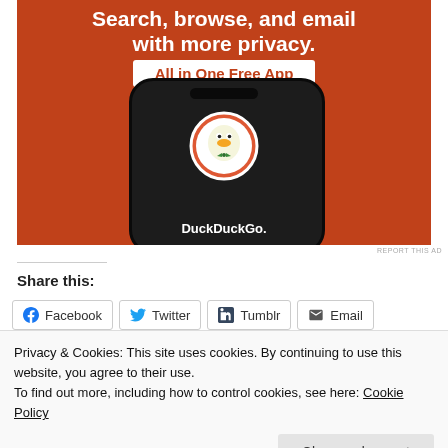[Figure (illustration): DuckDuckGo advertisement banner on orange background with smartphone showing DuckDuckGo logo. Text reads 'Search, browse, and email with more privacy. All in One Free App']
REPORT THIS AD
Share this:
Facebook  Twitter  Tumblr  Email
Privacy & Cookies: This site uses cookies. By continuing to use this website, you agree to their use.
To find out more, including how to control cookies, see here: Cookie Policy
Close and accept